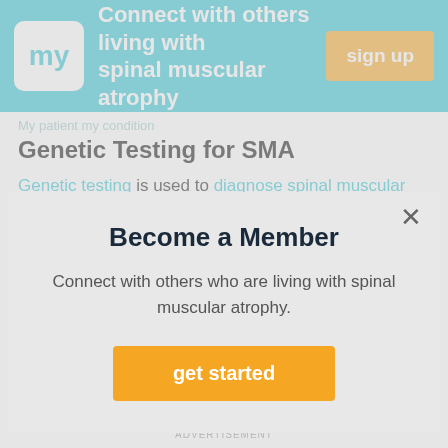Connect with others living with spinal muscular atrophy  sign up
Genetic Testing for SMA
Genetic Testing for SMA
Genetic testing is used to diagnose spinal muscular atrophy in babies, children, and adults who exhibit
Become a Member
Connect with others who are living with spinal muscular atrophy.
get started
genetic mutation. Preconception screening for SMA is particularly recommended for people with a known family
[Figure (other): Advertisement banner with circle pattern background]
ADVERTISEMENT